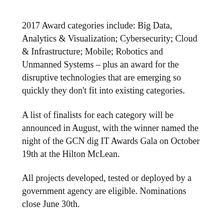2017 Award categories include: Big Data, Analytics & Visualization; Cybersecurity; Cloud & Infrastructure; Mobile; Robotics and Unmanned Systems – plus an award for the disruptive technologies that are emerging so quickly they don't fit into existing categories.
A list of finalists for each category will be announced in August, with the winner named the night of the GCN dig IT Awards Gala on October 19th at the Hilton McLean.
All projects developed, tested or deployed by a government agency are eligible. Nominations close June 30th.
GCN Award winners will be featured in the October issue of GCN and at the GCN dig IT Awards Gala celebration October 19, 2017.